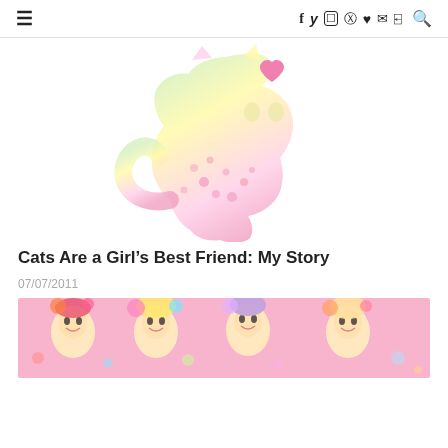≡ f y ⊡ ℗ ♥ ✉ ))) 🔍
[Figure (illustration): Watercolor cat silhouette with pastel rainbow gradient (yellow to pink) covered in floral patterns, with a pink heart above its head, sitting upright facing right.]
Cats Are a Girl's Best Friend: My Story
07/07/2011
[Figure (photo): Banner image showing illustrated big-eyed dolls with colorful hair accessories and flowers on a pink background.]